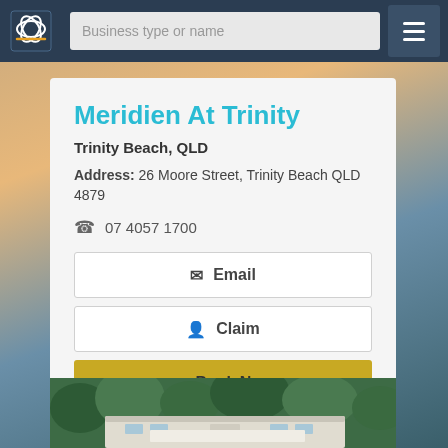Business type or name
Meridien At Trinity
Trinity Beach, QLD
Address: 26 Moore Street, Trinity Beach QLD 4879
07 4057 1700
Email
Claim
Book Now
View Details
[Figure (photo): Exterior photo of Meridien At Trinity building with tropical vegetation in background]